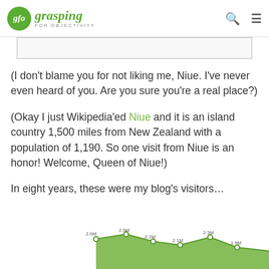glo grasping FOR OBJECTIVITY
(I don’t blame you for not liking me, Niue. I’ve never even heard of you. Are you sure you’re a real place?)
(Okay I just Wikipedia’ed Niue and it is an island country 1,500 miles from New Zealand with a population of 1,190. So one visit from Niue is an honor! Welcome, Queen of Niue!)
In eight years, these were my blog’s visitors…
[Figure (line-chart): Partial view of a line chart showing blog visitor counts over eight years, with values labeled 2.6M, 2.5M, 2.2M, 2.1M, 2.3M, 1.9M visible, area filled in green]